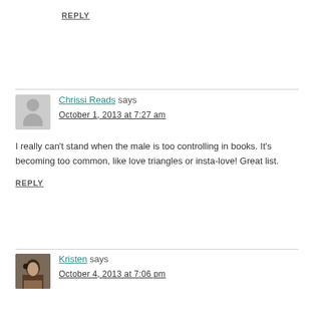REPLY
Chrissi Reads says
October 1, 2013 at 7:27 am
I really can't stand when the male is too controlling in books. It's becoming too common, like love triangles or insta-love! Great list.
REPLY
Kristen says
October 4, 2013 at 7:06 pm
I'm glad I'm not alone in this! I find it